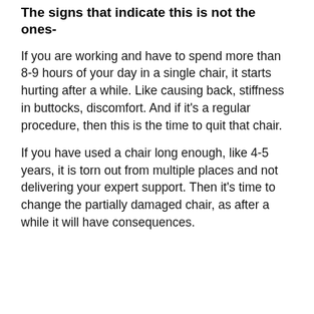The signs that indicate this is not the ones-
If you are working and have to spend more than 8-9 hours of your day in a single chair, it starts hurting after a while. Like causing back, stiffness in buttocks, discomfort. And if it's a regular procedure, then this is the time to quit that chair.
If you have used a chair long enough, like 4-5 years, it is torn out from multiple places and not delivering your expert support. Then it's time to change the partially damaged chair, as after a while it will have consequences.